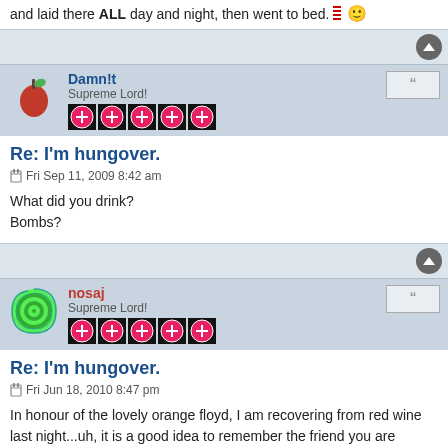and laid there ALL day and night, then went to bed. 🙂
Damn!t
Supreme Lord!
Re: I'm hungover.
Fri Sep 11, 2009 8:42 am
What did you drink?
Bombs?
nosaj
Supreme Lord!
Re: I'm hungover.
Fri Jun 18, 2010 8:47 pm
In honour of the lovely orange floyd, I am recovering from red wine last night...uh, it is a good idea to remember the friend you are drinking with is on holidays, and thus not worried about getting up for work the next day. 🙂
wiped
Supreme Lord!